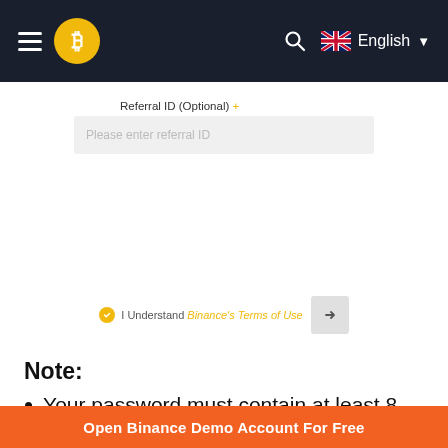[Figure (screenshot): Binance website top navigation bar with hamburger menu, Bitcoin logo, search icon, and English language selector with UK flag]
Referral ID (Optional) +
Please enter referral ID
I Understand Binance's Terms of Use
Note:
Your password must contain at least 8
Open Binance Demo Account For Free